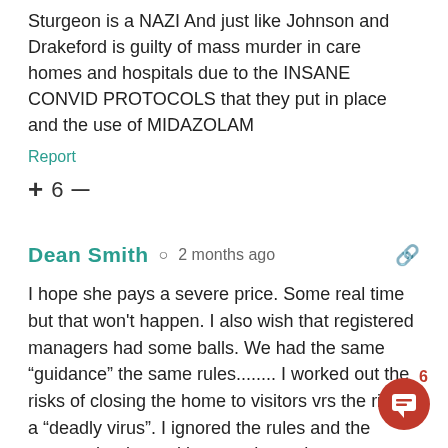Sturgeon is a NAZI And just like Johnson and Drakeford is guilty of mass murder in care homes and hospitals due to the INSANE CONVID PROTOCOLS that they put in place and the use of MIDAZOLAM
Report
+ 6 —
Dean Smith  2 months ago
I hope she pays a severe price. Some real time but that won't happen. I also wish that registered managers had some balls. We had the same "guidance" the same rules........ I worked out the risks of closing the home to visitors vrs the risk of a "deadly virus". I ignored the rules and the powers that be and kept my home home open throughout. It was a popular decision for my residents and their families but It was very unpopular to